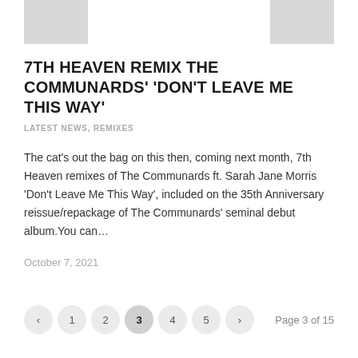[Figure (photo): Two partial thumbnail images at the top of the page, one on the left and one on the right, both showing grey placeholder rectangles.]
7TH HEAVEN REMIX THE COMMUNARDS' 'DON'T LEAVE ME THIS WAY'
LATEST NEWS, REMIXES
The cat's out the bag on this then, coming next month, 7th Heaven remixes of The Communards ft. Sarah Jane Morris 'Don't Leave Me This Way', included on the 35th Anniversary reissue/repackage of The Communards' seminal debut album.You can...
October 7, 2021
‹ 1 2 3 4 5 › Page 3 of 15